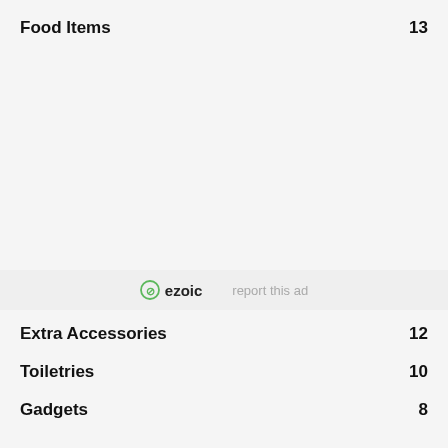Food Items  13
Extra Accessories  12
Toiletries  10
Gadgets  8